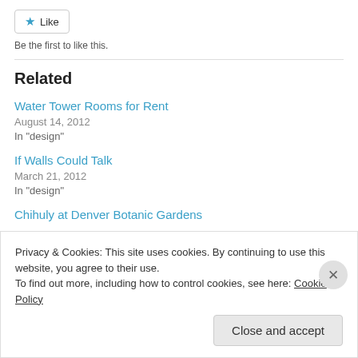[Figure (other): Like button with star icon]
Be the first to like this.
Related
Water Tower Rooms for Rent
August 14, 2012
In "design"
If Walls Could Talk
March 21, 2012
In "design"
Chihuly at Denver Botanic Gardens
Privacy & Cookies: This site uses cookies. By continuing to use this website, you agree to their use.
To find out more, including how to control cookies, see here: Cookie Policy
Close and accept